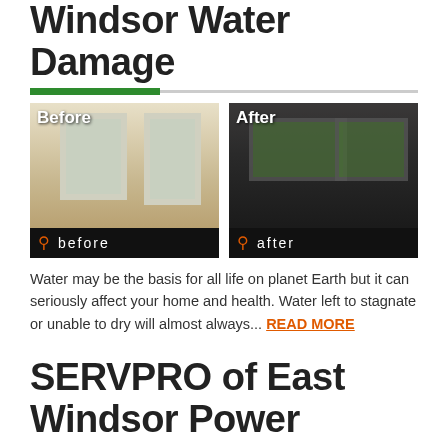SERVPRO of East Windsor Water Damage
[Figure (photo): Before and after photo comparison of a room with water damage restoration. Before: empty room with damaged flooring. After: renovated room with dark floors and fireplace. Each photo has a black bar at the bottom with a search icon and 'before'/'after' text.]
Water may be the basis for all life on planet Earth but it can seriously affect your home and health. Water left to stagnate or unable to dry will almost always... READ MORE
SERVPRO of East Windsor Power